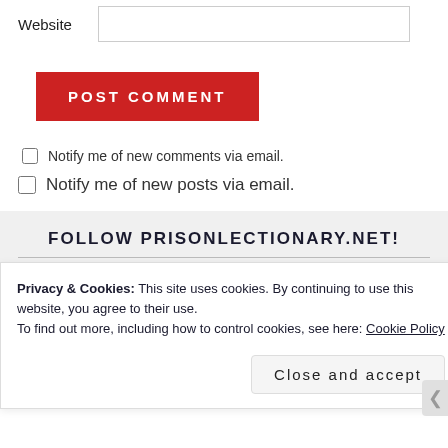Website
POST COMMENT
Notify me of new comments via email.
Notify me of new posts via email.
FOLLOW PRISONLECTIONARY.NET!
Enter your email address to follow this blog and
Privacy & Cookies: This site uses cookies. By continuing to use this website, you agree to their use.
To find out more, including how to control cookies, see here: Cookie Policy
Close and accept